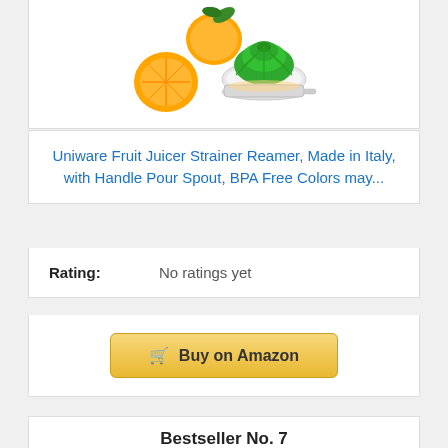[Figure (photo): Fruit juicer strainer reamer product photo with oranges and green reamer on a white background]
Uniware Fruit Juicer Strainer Reamer, Made in Italy, with Handle Pour Spout, BPA Free Colors may...
Rating: No ratings yet
Buy on Amazon
Bestseller No. 7
[Figure (photo): Glass pitcher or blender cup product photo on white background]